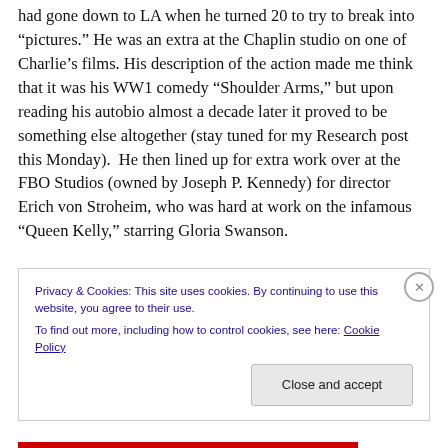had gone down to LA when he turned 20 to try to break into “pictures.” He was an extra at the Chaplin studio on one of Charlie’s films. His description of the action made me think that it was his WW1 comedy “Shoulder Arms,” but upon reading his autobio almost a decade later it proved to be something else altogether (stay tuned for my Research post this Monday).  He then lined up for extra work over at the FBO Studios (owned by Joseph P. Kennedy) for director Erich von Stroheim, who was hard at work on the infamous “Queen Kelly,” starring Gloria Swanson.
Privacy & Cookies: This site uses cookies. By continuing to use this website, you agree to their use.
To find out more, including how to control cookies, see here: Cookie Policy